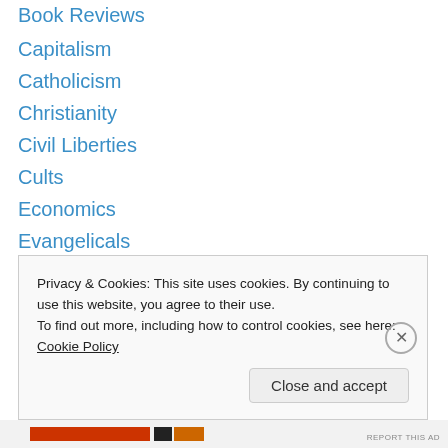Book Reviews
Capitalism
Catholicism
Christianity
Civil Liberties
Cults
Economics
Evangelicals
Gardening
Humor
Interviews
Islam
Jokes
Journalism
Privacy & Cookies: This site uses cookies. By continuing to use this website, you agree to their use. To find out more, including how to control cookies, see here: Cookie Policy
Close and accept